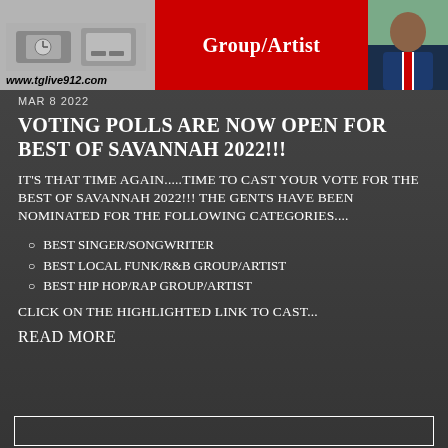[Figure (photo): Header area with watch/handshake photo on left, red banner with 'Group/Artist' text in center, portrait of man in blue blazer and red tie on right]
www.tglive912.com
Group/Artist
MAR 8 2022
VOTING POLLS ARE NOW OPEN FOR BEST OF SAVANNAH 2022!!!
IT'S THAT TIME AGAIN.....TIME TO CAST YOUR VOTE FOR THE BEST OF SAVANNAH 2022!!! THE GENTS HAVE BEEN NOMINATED FOR THE FOLLOWING CATEGORIES....
BEST SINGER/SONGWRITER
BEST LOCAL FUNK/R&B GROUP/ARTIST
BEST HIP HOP/RAP GROUP/ARTIST
CLICK ON THE HIGHLIGHTED LINK TO CAST...
READ MORE